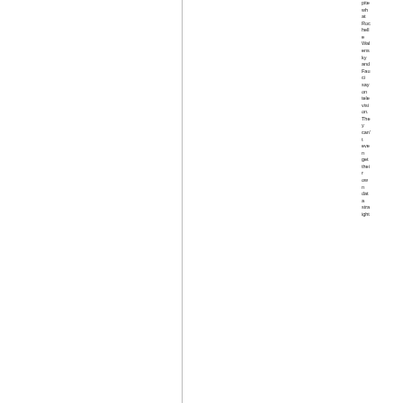pite what Rochelle Walensky and Fauci say on television. They can't even get their own data straight